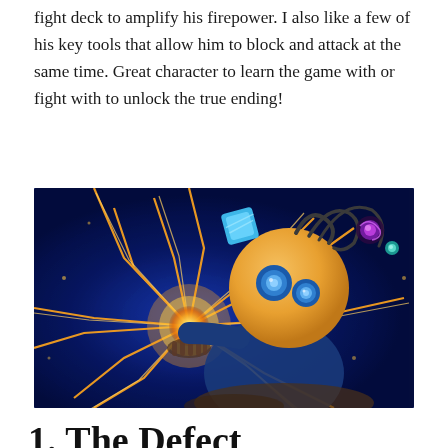fight deck to amplify his firepower. I also like a few of his key tools that allow him to block and attack at the same time. Great character to learn the game with or fight with to unlock the true ending!
[Figure (illustration): Game character illustration: a robot-like creature with a large round head with blue eyes, holding a glowing orange energy orb, surrounded by lightning bolts in shades of orange and gold against a dark blue background. Blue and purple orb accessories float nearby.]
1. The Defect